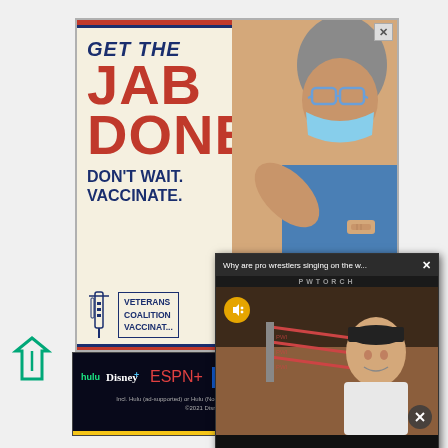[Figure (screenshot): Vaccination advertisement: 'GET THE JAB DONE! DON'T WAIT. VACCINATE.' Veterans Coalition for Vaccination with syringe icon, person flexing arm with medical mask and bandage]
[Figure (screenshot): Video popup overlay titled 'Why are pro wrestlers singing on the w...' with PWTORCH branding, showing a man in baseball cap in a wrestling ring, with mute button and close button]
[Figure (logo): Small teal/green angular logo icon]
[Figure (logo): Large teal/green angular logo icon]
[Figure (screenshot): Disney Bundle advertisement: hulu, Disney+, ESPN+ logos with 'GET THE DISNEY BUNDLE' call to action button. Fine print: Incl. Hulu (ad-supported) or Hulu (No Ads). Access content from each service separately. ©2021 Disney and its related entities]